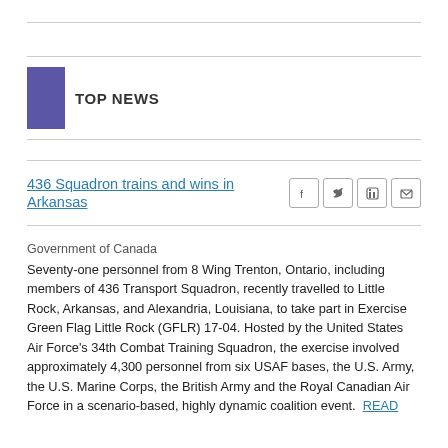TOP NEWS
436 Squadron trains and wins in Arkansas
Government of Canada
Seventy-one personnel from 8 Wing Trenton, Ontario, including members of 436 Transport Squadron, recently travelled to Little Rock, Arkansas, and Alexandria, Louisiana, to take part in Exercise Green Flag Little Rock (GFLR) 17-04. Hosted by the United States Air Force’s 34th Combat Training Squadron, the exercise involved approximately 4,300 personnel from six USAF bases, the U.S. Army, the U.S. Marine Corps, the British Army and the Royal Canadian Air Force in a scenario-based, highly dynamic coalition event.  READ